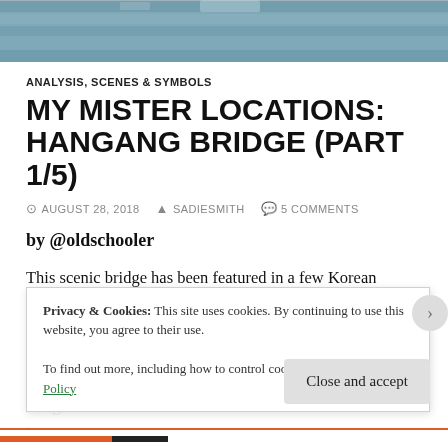[Figure (photo): Hero image showing stadium seating or bleachers in teal/blue-grey tones]
ANALYSIS, SCENES & SYMBOLS
MY MISTER LOCATIONS: HANGANG BRIDGE (PART 1/5)
AUGUST 28, 2018  SADIESMITH  5 COMMENTS
by @oldschooler
This scenic bridge has been featured in a few Korean dramas (link: Korean Drama Land). Because Park Dong Hoon's character is associated with a beloved bridge that would suggest...
Privacy & Cookies: This site uses cookies. By continuing to use this website, you agree to their use.
To find out more, including how to control cookies, see here: Cookie Policy